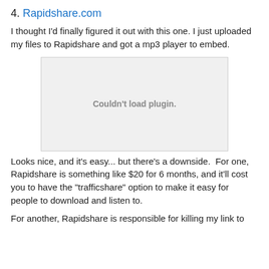4. Rapidshare.com
I thought I'd finally figured it out with this one. I just uploaded my files to Rapidshare and got a mp3 player to embed.
[Figure (other): Embedded plugin area showing 'Couldn't load plugin.' message]
Looks nice, and it's easy... but there's a downside.  For one, Rapidshare is something like $20 for 6 months, and it'll cost you to have the "trafficshare" option to make it easy for people to download and listen to.
For another, Rapidshare is responsible for killing my link to